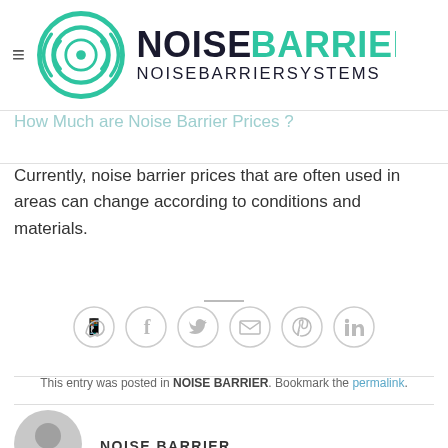NOISEBARRIERZ NOISEBARRIERSYSTEMS
will not be available...
How Much are Noise Barrier Prices ?
Currently, noise barrier prices that are often used in areas can change according to conditions and materials.
[Figure (other): Social sharing icons: WhatsApp, Facebook, Twitter, Email, Pinterest, LinkedIn]
This entry was posted in NOISE BARRIER. Bookmark the permalink.
[Figure (other): Author avatar placeholder (grey person icon)]
NOISE BARRIER